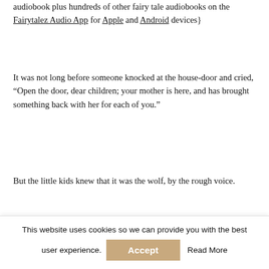audiobook plus hundreds of other fairy tale audiobooks on the Fairytalez Audio App for Apple and Android devices}
It was not long before someone knocked at the house-door and cried, “Open the door, dear children; your mother is here, and has brought something back with her for each of you.”
But the little kids knew that it was the wolf, by the rough voice.
“We will not open the door,” cried they, “thou art not our mother. She has a soft, pleasant voice, but your voice is rough; you are the wolf!”
This website uses cookies so we can provide you with the best user experience.
Accept
Read More